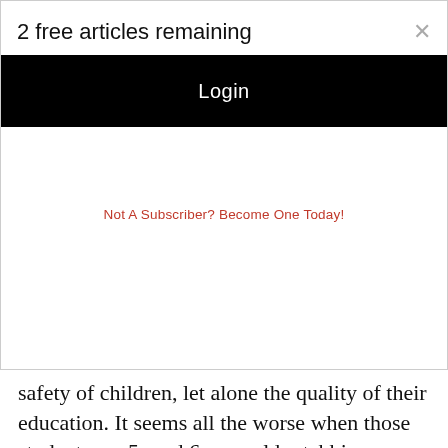2 free articles remaining
Login
Not A Subscriber? Become One Today!
safety of children, let alone the quality of their education. It seems all the worse when those students are 5- and 6-year-olds stabbing or being stabbed by classmates.